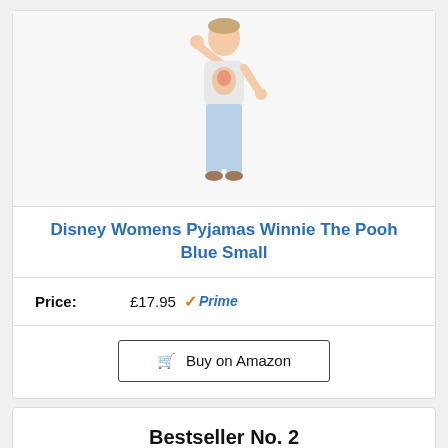[Figure (photo): Woman wearing a Disney character graphic t-shirt and light blue jeans, posing standing up]
Disney Womens Pyjamas Winnie The Pooh Blue Small
Price: £17.95 Prime
Buy on Amazon
Bestseller No. 2